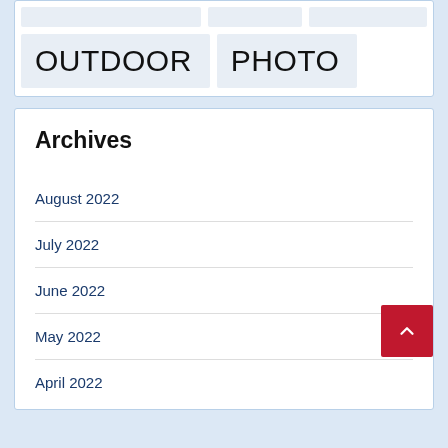[Figure (other): Outdoor Photo placeholder card with gray boxes and large text labels OUTDOOR PHOTO]
Archives
August 2022
July 2022
June 2022
May 2022
April 2022